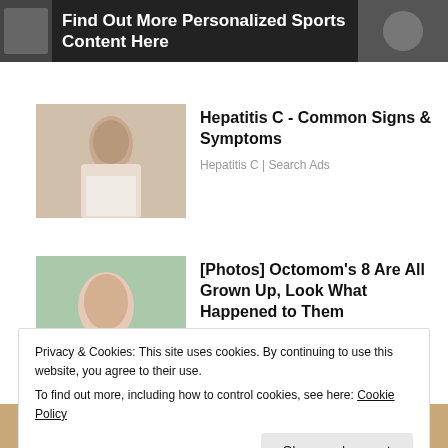[Figure (other): Dark banner with text overlay: Find Out More Personalized Sports Content Here]
[Figure (photo): Woman sitting on bed holding her lower back (back pain image)]
Hepatitis C - Common Signs & Symptoms
Hepatitis C | Search Ads
[Figure (photo): Octomom (Nadya Suleman) with babies photo]
[Photos] Octomom's 8 Are All Grown Up, Look What Happened to Them
Privacy & Cookies: This site uses cookies. By continuing to use this website, you agree to their use.
To find out more, including how to control cookies, see here: Cookie Policy
[Figure (photo): Bottom strip showing partial image of faces]